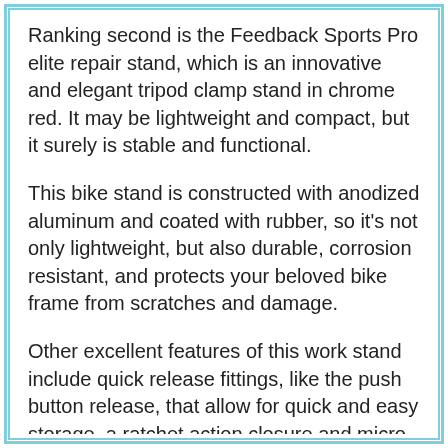Ranking second is the Feedback Sports Pro elite repair stand, which is an innovative and elegant tripod clamp stand in chrome red. It may be lightweight and compact, but it surely is stable and functional.
This bike stand is constructed with anodized aluminum and coated with rubber, so it's not only lightweight, but also durable, corrosion resistant, and protects your beloved bike frame from scratches and damage.
Other excellent features of this work stand include quick release fittings, like the push button release, that allow for quick and easy storage, a ratchet action closure and micro adjustability to secure and protect your bike, and a 360 degree rotation capability.